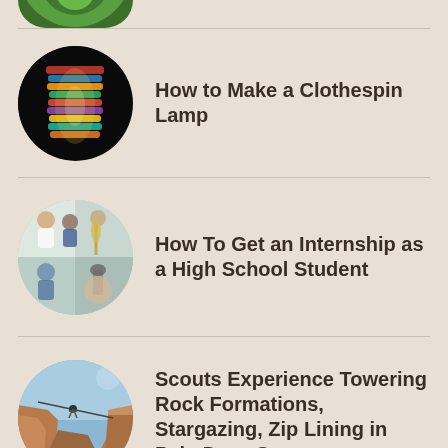[Figure (illustration): Partial circular thumbnail at top of page showing a green leaf or plant, cropped]
How to Make a Clothespin Lamp
How To Get an Internship as a High School Student
Scouts Experience Towering Rock Formations, Stargazing, Zip Lining in Palo Duro Canyon